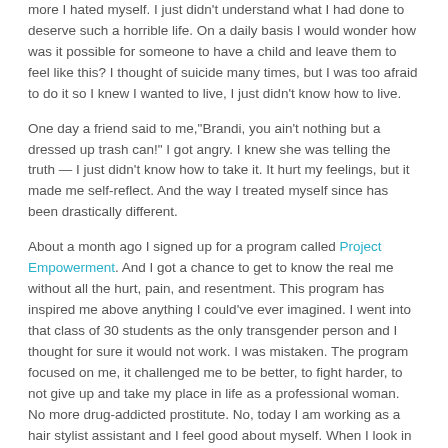more I hated myself. I just didn't understand what I had done to deserve such a horrible life. On a daily basis I would wonder how was it possible for someone to have a child and leave them to feel like this? I thought of suicide many times, but I was too afraid to do it so I knew I wanted to live, I just didn't know how to live.
One day a friend said to me,"Brandi, you ain't nothing but a dressed up trash can!" I got angry. I knew she was telling the truth — I just didn't know how to take it. It hurt my feelings, but it made me self-reflect. And the way I treated myself since has been drastically different.
About a month ago I signed up for a program called Project Empowerment. And I got a chance to get to know the real me without all the hurt, pain, and resentment. This program has inspired me above anything I could've ever imagined. I went into that class of 30 students as the only transgender person and I thought for sure it would not work. I was mistaken. The program focused on me, it challenged me to be better, to fight harder, to not give up and take my place in life as a professional woman. No more drug-addicted prostitute. No, today I am working as a hair stylist assistant and I feel good about myself. When I look in the mirror, I